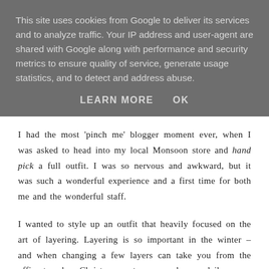This site uses cookies from Google to deliver its services and to analyze traffic. Your IP address and user-agent are shared with Google along with performance and security metrics to ensure quality of service, generate usage statistics, and to detect and address abuse.
LEARN MORE   OK
I had the most 'pinch me' blogger moment ever, when I was asked to head into my local Monsoon store and hand pick a full outfit. I was so nervous and awkward, but it was such a wonderful experience and a first time for both me and the wonderful staff.
I wanted to style up an outfit that heavily focused on the art of layering. Layering is so important in the winter – and when changing a few layers can take you from the office to a bar. Christmasparty can reachyour daily...